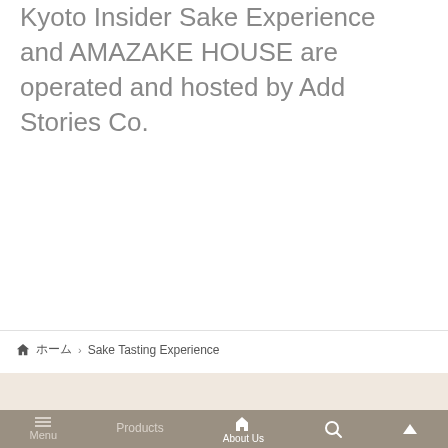Kyoto Insider Sake Experience and AMAZAKE HOUSE are operated and hosted by Add Stories Co.
🏠 ホーム › Sake Tasting Experience
Top
Menu | Products | About Us | 🔍 | ▲